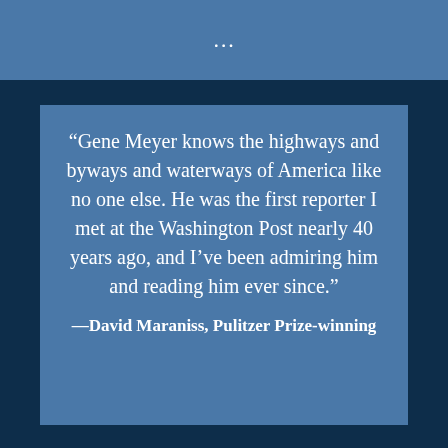…
“Gene Meyer knows the highways and byways and waterways of America like no one else. He was the first reporter I met at the Washington Post nearly 40 years ago, and I’ve been admiring him and reading him ever since.”
—David Maraniss, Pulitzer Prize-winning